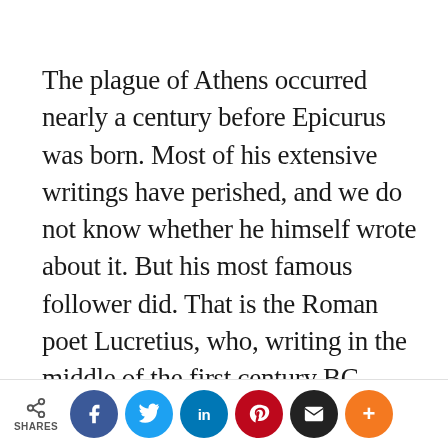The plague of Athens occurred nearly a century before Epicurus was born. Most of his extensive writings have perished, and we do not know whether he himself wrote about it. But his most famous follower did. That is the Roman poet Lucretius, who, writing in the middle of the first century BC, concludes the sixth and last book of his brilliant epic of the universe, On the Nature of Things, with an account that for the most part closely
SHARES | social share buttons: Facebook, Twitter, LinkedIn, Pinterest, Email, More